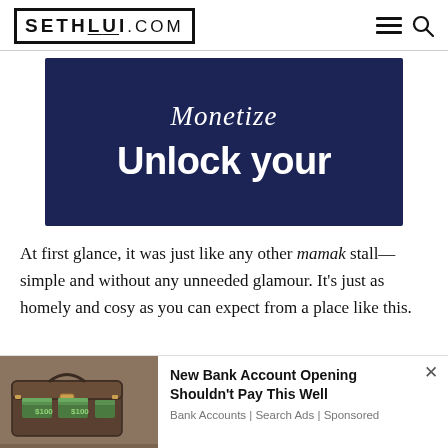SETHLUI.COM
[Figure (illustration): Dark navy blue banner with script text 'Monetize' at top and bold white text 'Unlock your' below]
At first glance, it was just like any other mamak stall—simple and without any unneeded glamour. It's just as homely and cosy as you can expect from a place like this.
[Figure (photo): Advertisement showing a cash box filled with money bills]
New Bank Account Opening Shouldn't Pay This Well
Bank Accounts | Search Ads | Sponsored